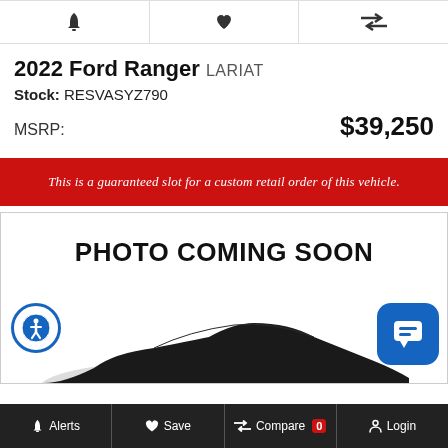[Figure (infographic): Three icon buttons in a row: bell (alerts), heart (save), compare arrows]
2022 Ford Ranger LARIAT
Stock: RESVASYZ790
MSRP: $39,250
This is a guaranteed slot for a custom retail order of this vehicle.
[Figure (photo): Photo Coming Soon placeholder with dark draped car silhouette]
Alerts   Save   Compare 0   Login